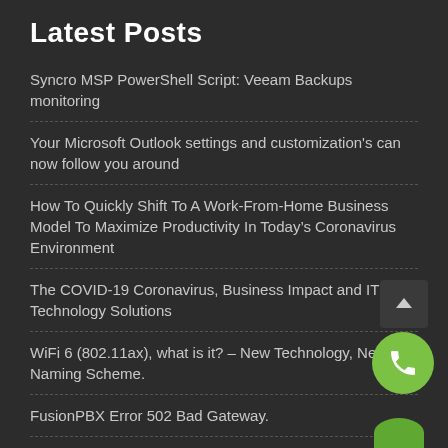Latest Posts
Syncro MSP PowerShell Script: Veeam Backups monitoring
Your Microsoft Outlook settings and customization's can now follow you around
How To Quickly Shift To A Work-From-Home Business Model To Maximize Productivity In Today’s Coronavirus Environment
The COVID-19 Coronavirus, Business Impact and IT Technology Solutions
WiFi 6 (802.11ax), what is it? – New Technology, New Naming Scheme.
FusionPBX Error 502 Bad Gateway.